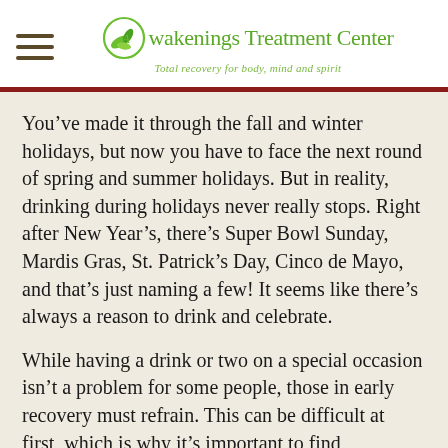[Figure (logo): Awakenings Treatment Center logo with green leaf/circle icon, green text reading 'Awakenings Treatment Center', and italic tagline 'Total recovery for body, mind and spirit']
You’ve made it through the fall and winter holidays, but now you have to face the next round of spring and summer holidays. But in reality, drinking during holidays never really stops. Right after New Year’s, there’s Super Bowl Sunday, Mardis Gras, St. Patrick’s Day, Cinco de Mayo, and that’s just naming a few! It seems like there’s always a reason to drink and celebrate.
While having a drink or two on a special occasion isn’t a problem for some people, those in early recovery must refrain. This can be difficult at first, which is why it’s important to find pleasurable activities to pass the